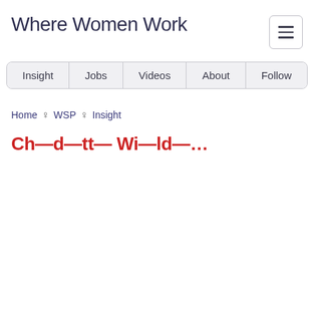Where Women Work
[Figure (other): Hamburger menu button (three horizontal lines) in a rounded border box]
Insight  Jobs  Videos  About  Follow
Home ♀ WSP ♀ Insight
Ch—d—tt— Wi—ld—…